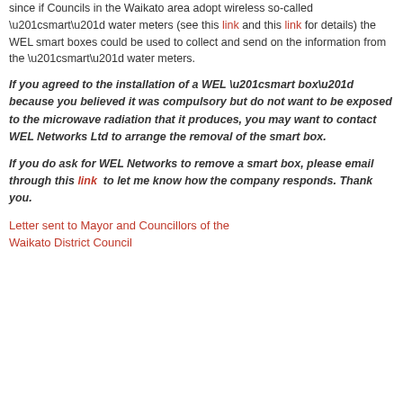since if Councils in the Waikato area adopt wireless so-called “smart” water meters (see this link and this link for details) the WEL smart boxes could be used to collect and send on the information from the “smart” water meters.
If you agreed to the installation of a WEL “smart box” because you believed it was compulsory but do not want to be exposed to the microwave radiation that it produces, you may want to contact WEL Networks Ltd to arrange the removal of the smart box.
If you do ask for WEL Networks to remove a smart box, please email through this link to let me know how the company responds. Thank you.
Letter sent to Mayor and Councillors of the Waikato District Council